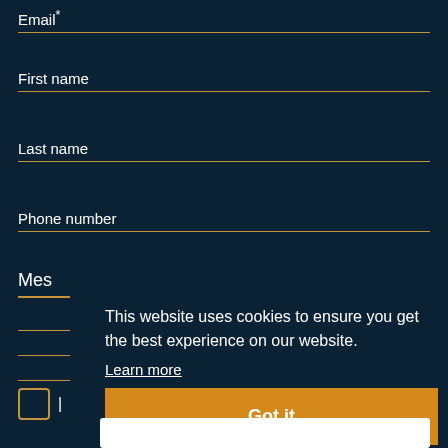Email*
First name
Last name
Phone number
Mes
This website uses cookies to ensure you get the best experience on our website.
Learn more
Got it